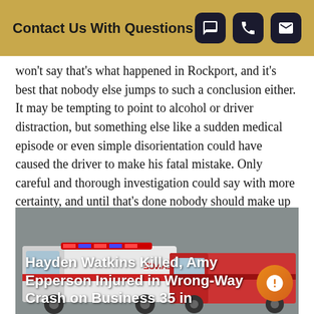Contact Us With Questions
won't say that's what happened in Rockport, and it's best that nobody else jumps to such a conclusion either. It may be tempting to point to alcohol or driver distraction, but something else like a sudden medical episode or even simple disorientation could have caused the driver to make his fatal mistake. Only careful and thorough investigation could say with more certainty, and until that's done nobody should make up their minds.
[Figure (photo): Emergency vehicle (ambulance/fire truck) with white bold text overlay reading 'Hayden Watkins Killed, Amy Epperson Injured in Wrong-Way Crash on Business 35 in']
Hayden Watkins Killed, Amy Epperson Injured in Wrong-Way Crash on Business 35 in